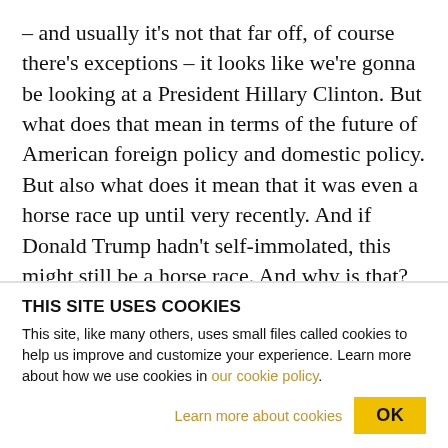– and usually it's not that far off, of course there's exceptions – it looks like we're gonna be looking at a President Hillary Clinton. But what does that mean in terms of the future of American foreign policy and domestic policy. But also what does it mean that it was even a horse race up until very recently. And if Donald Trump hadn't self-immolated, this might still be a horse race. And why is that? What does that tell us about the fate of where much of America is at? Now joining us to talk about all of this is Gerald Horne. Gerald's a historian and he holds the John J.
THIS SITE USES COOKIES
This site, like many others, uses small files called cookies to help us improve and customize your experience. Learn more about how we use cookies in our cookie policy.
Learn more about cookies
OK